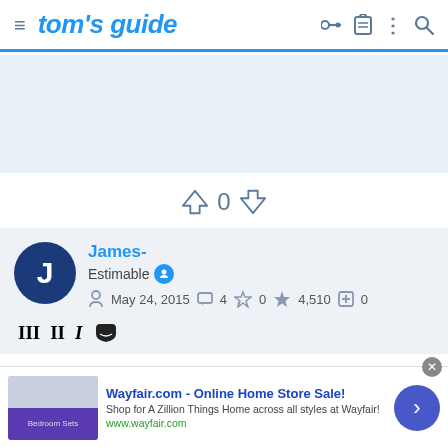tom's guide
[Figure (other): Light blue/gray banner/advertisement placeholder area]
0
James-
Estimable
May 24, 2015  4  0  4,510  0
[Figure (other): Wayfair.com advertisement banner - Online Home Store Sale!]